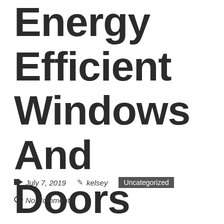Energy Efficient Windows And Doors
July 7, 2019   kelsey   Uncategorized
No Comments